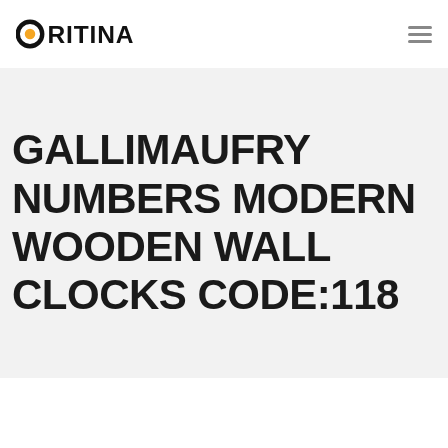ORITINA
GALLIMAUFRY NUMBERS MODERN WOODEN WALL CLOCKS CODE:118